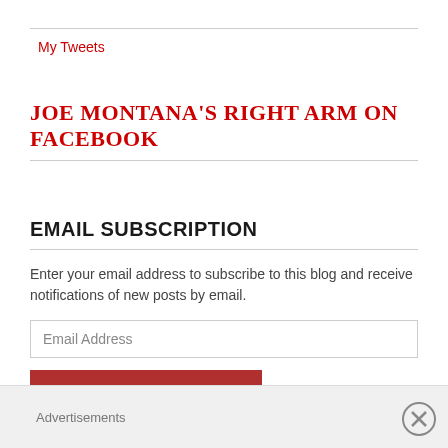My Tweets
JOE MONTANA'S RIGHT ARM ON FACEBOOK
EMAIL SUBSCRIPTION
Enter your email address to subscribe to this blog and receive notifications of new posts by email.
Email Address
SIGN ME UP!
Advertisements